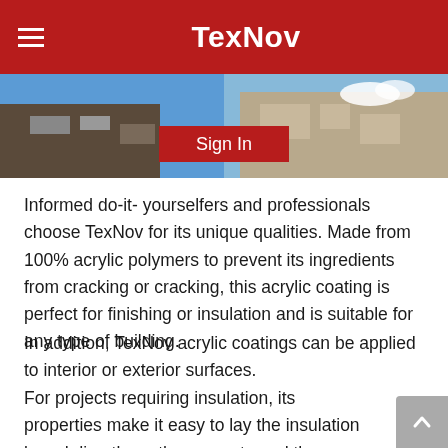TexNov
[Figure (photo): Exterior photo of a commercial building with blue sky, overlaid with a red 'Sign In' button in the center.]
Informed do-it- yourselfers and professionals choose TexNov for its unique qualities. Made from 100% acrylic polymers to prevent its ingredients from cracking or cracking, this acrylic coating is perfect for finishing or insulation and is suitable for any type of building.
In addition, TexNov acrylic coatings can be applied to interior or exterior surfaces.
For projects requiring insulation, its properties make it easy to lay the insulation board directly on the concrete and then cover it with the acrylic coating; this will protect the concrete from deterioration and suddenly create an